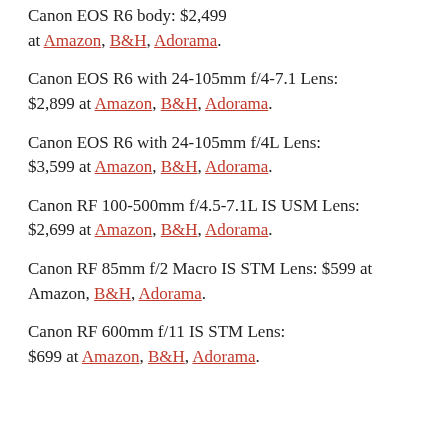Canon EOS R6 body: $2,499 at Amazon, B&H, Adorama.
Canon EOS R6 with 24-105mm f/4-7.1 Lens: $2,899 at Amazon, B&H, Adorama.
Canon EOS R6 with 24-105mm f/4L Lens: $3,599 at Amazon, B&H, Adorama.
Canon RF 100-500mm f/4.5-7.1L IS USM Lens: $2,699 at Amazon, B&H, Adorama.
Canon RF 85mm f/2 Macro IS STM Lens: $599 at Amazon, B&H, Adorama.
Canon RF 600mm f/11 IS STM Lens: $699 at Amazon, B&H, Adorama.